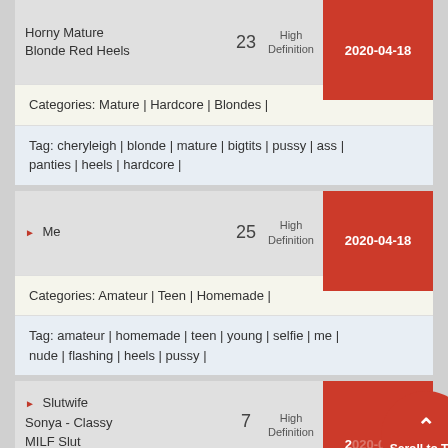Horny Mature Blonde Red Heels | 23 | High Definition | 2020-04-18
Categories: Mature | Hardcore | Blondes |
Tag: cheryleigh | blonde | mature | bigtits | pussy | ass | panties | heels | hardcore |
Me | 25 | High Definition | 2020-04-18
Categories: Amateur | Teen | Homemade |
Tag: amateur | homemade | teen | young | selfie | me | nude | flashing | heels | pussy |
Slutwife Sonya - Classy MILF Slut | 7 | High Definition | 2020-04-18
Categories: BigTits | Mature | Asses |